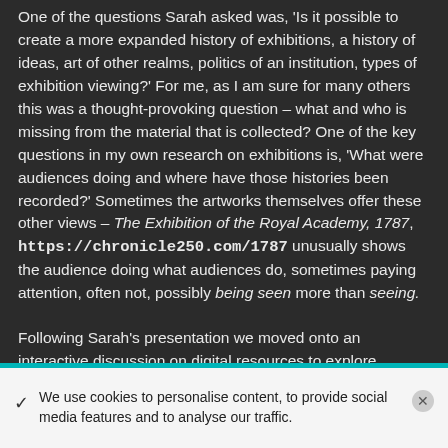One of the questions Sarah asked was, 'Is it possible to create a more expanded history of exhibitions, a history of ideas, art of other realms, politics of an institution, types of exhibition viewing?' For me, as I am sure for many others this was a thought-provoking question – what and who is missing from the material that is collected? One of the key questions in my own research on exhibitions is, 'What were audiences doing and where have those histories been recorded?' Sometimes the artworks themselves offer these other views – The Exhibition of the Royal Academy, 1787, https://chronicle250.com/1787 unusually shows the audience doing what audiences do, sometimes paying attention, often not, possibly being seen more than seeing.
Following Sarah's presentation we moved onto an interactive discussion on digital resources to explore...
We use cookies to personalise content, to provide social media features and to analyse our traffic.